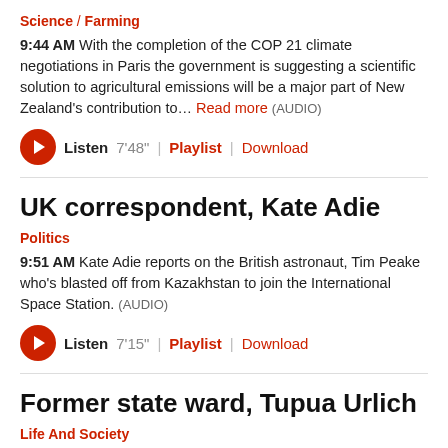Science / Farming
9:44 AM With the completion of the COP 21 climate negotiations in Paris the government is suggesting a scientific solution to agricultural emissions will be a major part of New Zealand's contribution to… Read more (AUDIO)
Listen 7'48" | Playlist | Download
UK correspondent, Kate Adie
Politics
9:51 AM Kate Adie reports on the British astronaut, Tim Peake who's blasted off from Kazakhstan to join the International Space Station. (AUDIO)
Listen 7'15" | Playlist | Download
Former state ward, Tupua Urlich
Life And Society